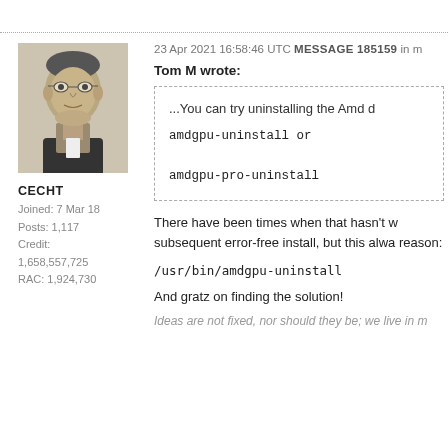[Figure (photo): Black and white portrait photo of a man in 19th century attire with glasses]
CECHT
Joined: 7 Mar 18
Posts: 1,117
Credit: 1,658,557,725
RAC: 1,924,730
23 Apr 2021 16:58:46 UTC MESSAGE 185159 in m
Tom M wrote:
...You can try uninstalling the Amd d
amdgpu-uninstall or
amdgpu-pro-uninstall
There have been times when that hasn't w subsequent error-free install, but this alwa reason:
/usr/bin/amdgpu-uninstall
And gratz on finding the solution!
Ideas are not fixed, nor should they be; we live in m